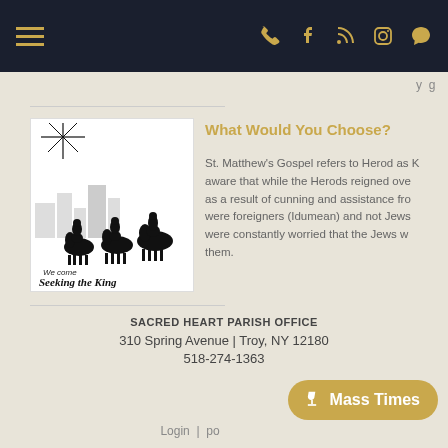Navigation bar with hamburger menu and icons (phone, facebook, rss, instagram, chat)
[Figure (illustration): Black and white illustration of three wise men on camels with a star, text reads 'We come Seeking the King']
What Would You Choose?
St. Matthew's Gospel refers to Herod as K... aware that while the Herods reigned ove... as a result of cunning and assistance fro... were foreigners (Idumean) and not Jews... were constantly worried that the Jews w... them.
SACRED HEART PARISH OFFICE
310 Spring Avenue | Troy, NY 12180
518-274-1363
Login | po...